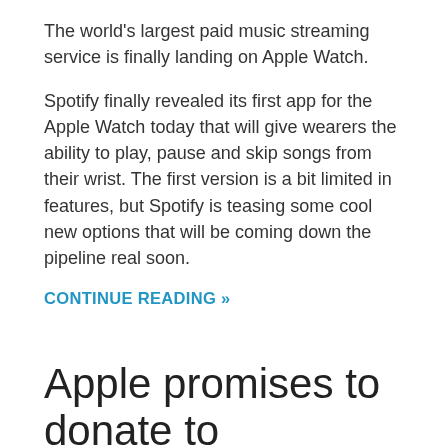The world's largest paid music streaming service is finally landing on Apple Watch.
Spotify finally revealed its first app for the Apple Watch today that will give wearers the ability to play, pause and skip songs from their wrist. The first version is a bit limited in features, but Spotify is teasing some cool new options that will be coming down the pipeline real soon.
CONTINUE READING »
Apple promises to donate to California fire relief